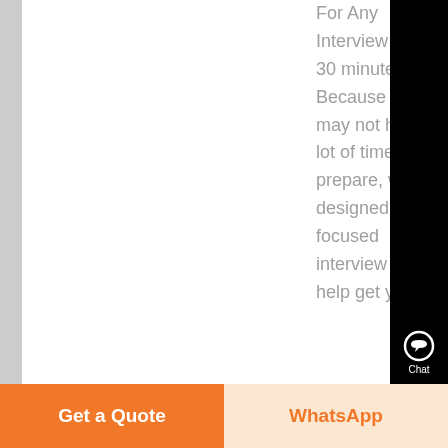For Any Interview in only 30 minutes! Because you may not have a lot of time to prepare, we've designed a focused interview tests to help get you ....
Know More
[Figure (screenshot): Right black sidebar with chat headset icon labeled 'Chat', email icon labeled 'E-mail', up arrow labeled 'Top', and close X button]
Get a Quote
WhatsApp